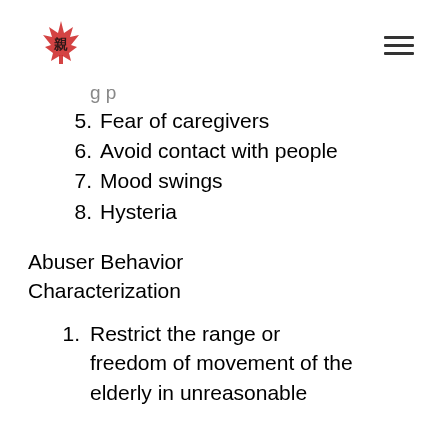[Figure (logo): Red maple leaf logo with Asian character, website logo]
5.  Fear of caregivers
6.  Avoid contact with people
7.  Mood swings
8.  Hysteria
Abuser Behavior Characterization
1.  Restrict the range or freedom of movement of the elderly in unreasonable